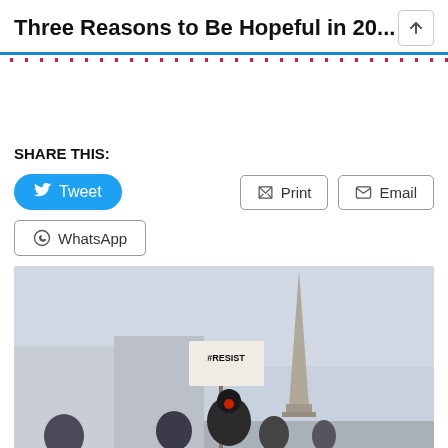Three Reasons to Be Hopeful in 20...
SHARE THIS:
[Figure (photo): Protest scene near the Washington Monument with a person holding a #RESIST sign]